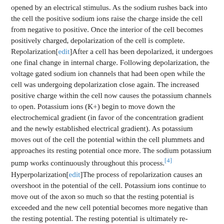opened by an electrical stimulus. As the sodium rushes back into the cell the positive sodium ions raise the charge inside the cell from negative to positive. Once the interior of the cell becomes positively charged, depolarization of the cell is complete.
Repolarization[edit]After a cell has been depolarized, it undergoes one final change in internal charge. Following depolarization, the voltage gated sodium ion channels that had been open while the cell was undergoing depolarization close again. The increased positive charge within the cell now causes the potassium channels to open. Potassium ions (K+) begin to move down the electrochemical gradient (in favor of the concentration gradient and the newly established electrical gradient). As potassium moves out of the cell the potential within the cell plummets and approaches its resting potential once more. The sodium potassium pump works continuously throughout this process.[4]
Hyperpolarization[edit]The process of repolarization causes an overshoot in the potential of the cell. Potassium ions continue to move out of the axon so much so that the resting potential is exceeded and the new cell potential becomes more negative than the resting potential. The resting potential is ultimately re-established by the closing of all voltage-gated ion channels and the activity of the sodium